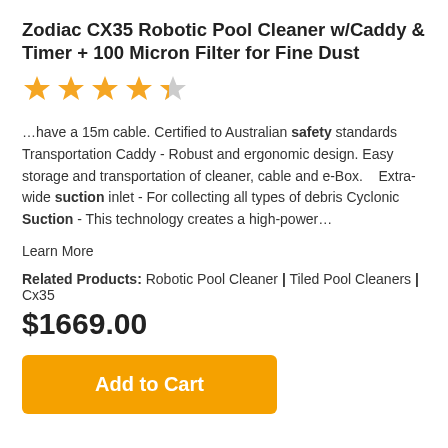Zodiac CX35 Robotic Pool Cleaner w/Caddy & Timer + 100 Micron Filter for Fine Dust
[Figure (other): 4.5 star rating shown as yellow star icons]
…have a 15m cable. Certified to Australian safety standards Transportation Caddy - Robust and ergonomic design. Easy storage and transportation of cleaner, cable and e-Box.   Extra-wide suction inlet - For collecting all types of debris Cyclonic Suction - This technology creates a high-power…
Learn More
Related Products: Robotic Pool Cleaner | Tiled Pool Cleaners | Cx35
$1669.00
Add to Cart